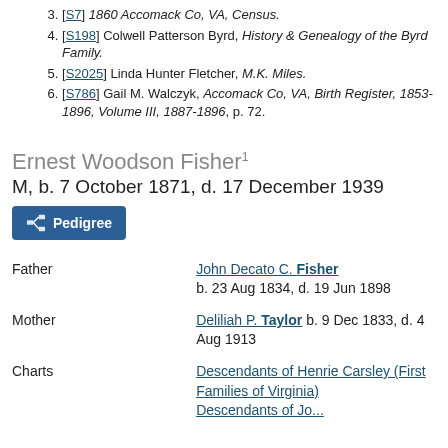3. [S7] 1860 Accomack Co, VA, Census.
4. [S198] Colwell Patterson Byrd, History & Genealogy of the Byrd Family.
5. [S2025] Linda Hunter Fletcher, M.K. Miles.
6. [S786] Gail M. Walczyk, Accomack Co, VA, Birth Register, 1853-1896, Volume III, 1887-1896, p. 72.
Ernest Woodson Fisher¹
M, b. 7 October 1871, d. 17 December 1939
Pedigree
|  |  |
| --- | --- |
| Father | John Decato C. Fisher b. 23 Aug 1834, d. 19 Jun 1898 |
| Mother | Deliliah P. Taylor b. 9 Dec 1833, d. 4 Aug 1913 |
| Charts | Descendants of Henrie Carsley (First Families of Virginia) Descendants of Jo... |